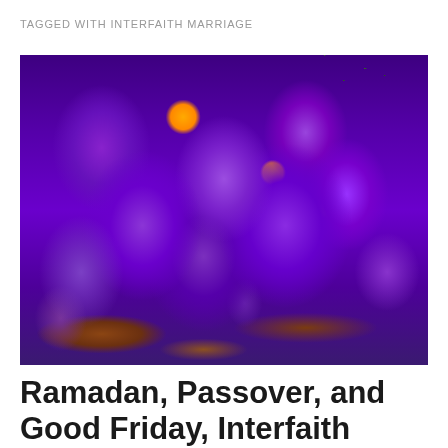TAGGED WITH INTERFAITH MARRIAGE
[Figure (photo): Close-up photograph of purple crocus flowers in bloom, clustered together with yellow stamens visible, surrounded by dried leaves and green grass stems in the background.]
Ramadan, Passover, and Good Friday, Interfaith Families